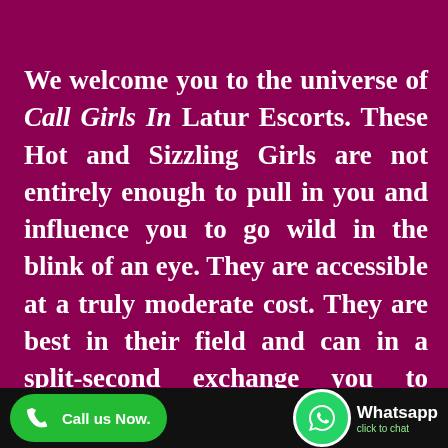We welcome you to the universe of Call Girls In Latur Escorts. These Hot and Sizzling Girls are not entirely enough to pull in you and influence you to go wild in the blink of an eye. They are accessible at a truly moderate cost. They are best in their field and can in a split-second exchange you to heaven. These are Independent Call Girls In Latur Escorts who are ready to do everything which your body